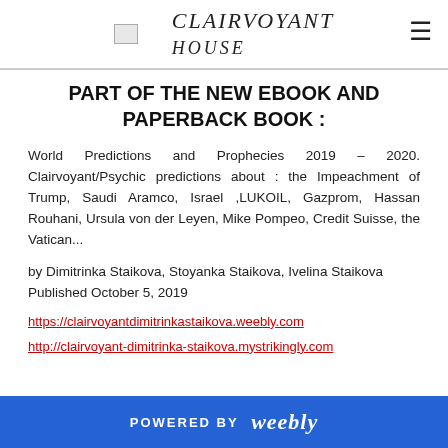CLAIRVOYANT HOUSE
PART OF THE NEW EBOOK AND PAPERBACK BOOK :
World Predictions and Prophecies 2019 – 2020. Clairvoyant/Psychic predictions about : the Impeachment of Trump, Saudi Aramco, Israel ,LUKOIL, Gazprom, Hassan Rouhani, Ursula von der Leyen, Mike Pompeo, Credit Suisse, the Vatican...
by Dimitrinka Staikova, Stoyanka Staikova, Ivelina Staikova
Published October 5, 2019
https://clairvoyantdimitrinkastaikova.weebly.com
http://clairvoyant-dimitrinka-staikova.mystrikingly.com
POWERED BY weebly